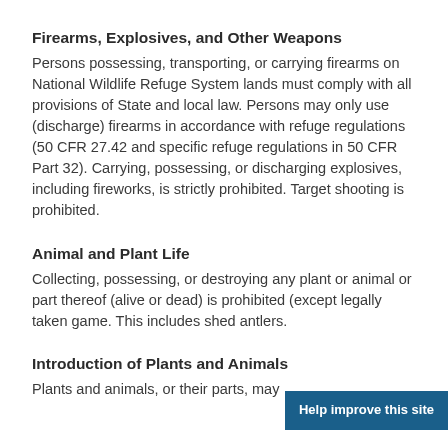Firearms, Explosives, and Other Weapons
Persons possessing, transporting, or carrying firearms on National Wildlife Refuge System lands must comply with all provisions of State and local law. Persons may only use (discharge) firearms in accordance with refuge regulations (50 CFR 27.42 and specific refuge regulations in 50 CFR Part 32). Carrying, possessing, or discharging explosives, including fireworks, is strictly prohibited. Target shooting is prohibited.
Animal and Plant Life
Collecting, possessing, or destroying any plant or animal or part thereof (alive or dead) is prohibited (except legally taken game. This includes shed antlers.
Introduction of Plants and Animals
Plants and animals, or their parts, may